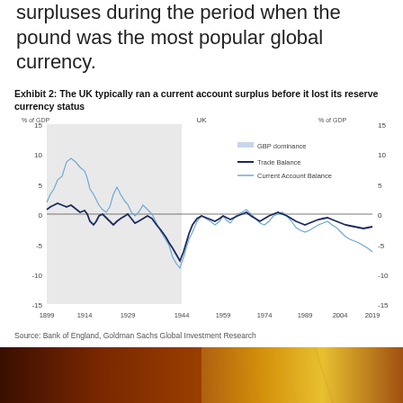surpluses during the period when the pound was the most popular global currency.
Exhibit 2: The UK typically ran a current account surplus before it lost its reserve currency status
[Figure (line-chart): UK]
Source: Bank of England, Goldman Sachs Global Investment Research
[Figure (photo): Two-panel photograph showing copper/mineral material on the left and gold/metallic material on the right]